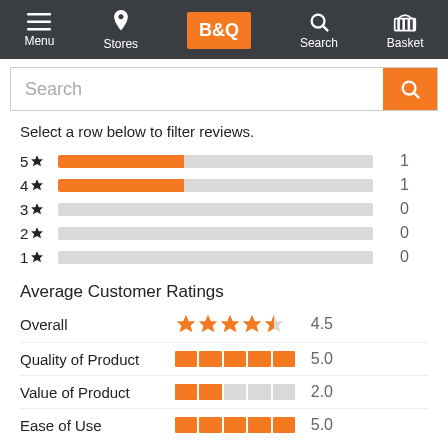[Figure (screenshot): B&Q website navigation bar with Menu, Stores, B&Q logo, Search, and Basket icons on dark background]
[Figure (screenshot): Search bar with orange search button]
Select a row below to filter reviews.
[Figure (bar-chart): Star rating distribution]
Average Customer Ratings
| Category | Stars | Rating |
| --- | --- | --- |
| Overall | 4.5 stars | 4.5 |
| Quality of Product | 5 segments | 5.0 |
| Value of Product | 2 segments | 2.0 |
| Ease of Use | 5 segments | 5.0 |